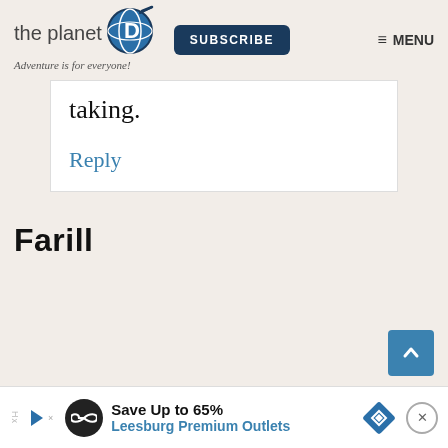[Figure (logo): The Planet D logo with globe icon, tagline 'Adventure is for everyone!', Subscribe button, and Menu icon]
taking.
Reply
Farill
[Figure (infographic): Advertisement banner: Save Up to 65% Leesburg Premium Outlets]
Save Up to 65% Leesburg Premium Outlets